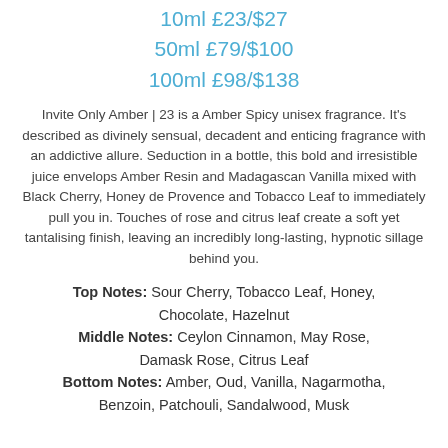10ml £23/$27
50ml £79/$100
100ml £98/$138
Invite Only Amber | 23 is a Amber Spicy unisex fragrance. It's described as divinely sensual, decadent and enticing fragrance with an addictive allure. Seduction in a bottle, this bold and irresistible juice envelops Amber Resin and Madagascan Vanilla mixed with Black Cherry, Honey de Provence and Tobacco Leaf to immediately pull you in. Touches of rose and citrus leaf create a soft yet tantalising finish, leaving an incredibly long-lasting, hypnotic sillage behind you.
Top Notes: Sour Cherry, Tobacco Leaf, Honey, Chocolate, Hazelnut
Middle Notes: Ceylon Cinnamon, May Rose, Damask Rose, Citrus Leaf
Bottom Notes: Amber, Oud, Vanilla, Nagarmotha, Benzoin, Patchouli, Sandalwood, Musk